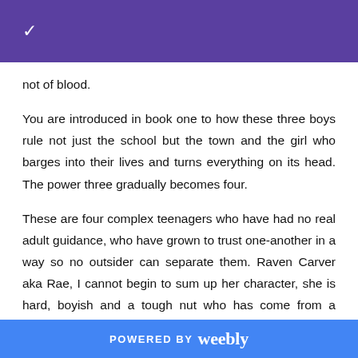✓
not of blood.
You are introduced in book one to how these three boys rule not just the school but the town and the girl who barges into their lives and turns everything on its head. The power three gradually becomes four.
These are four complex teenagers who have had no real adult guidance, who have grown to trust one-another in a way so no outsider can separate them. Raven Carver aka Rae, I cannot begin to sum up her character, she is hard, boyish and a tough nut who has come from a whore of a mother and
POWERED BY weebly